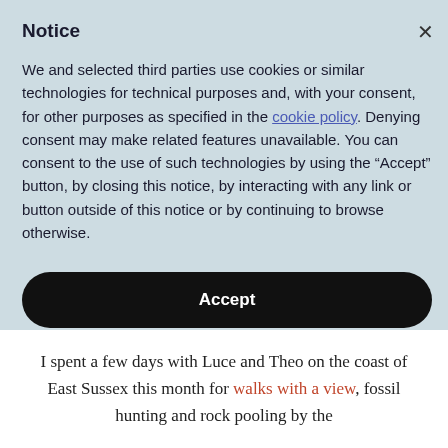Notice
We and selected third parties use cookies or similar technologies for technical purposes and, with your consent, for other purposes as specified in the cookie policy. Denying consent may make related features unavailable. You can consent to the use of such technologies by using the “Accept” button, by closing this notice, by interacting with any link or button outside of this notice or by continuing to browse otherwise.
Accept
Learn more and customize
I spent a few days with Luce and Theo on the coast of East Sussex this month for walks with a view, fossil hunting and rock pooling by the